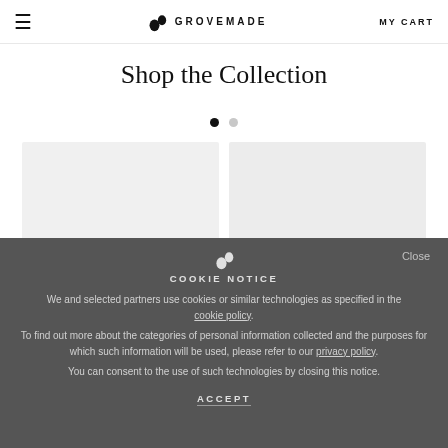GROVEMADE  MY CART
Shop the Collection
[Figure (other): Two carousel pagination dots, one filled black and one grey]
[Figure (other): Two product image placeholders side by side (light grey boxes)]
COOKIE NOTICE
We and selected partners use cookies or similar technologies as specified in the cookie policy.
To find out more about the categories of personal information collected and the purposes for which such information will be used, please refer to our privacy_policy.
You can consent to the use of such technologies by closing this notice.
ACCEPT